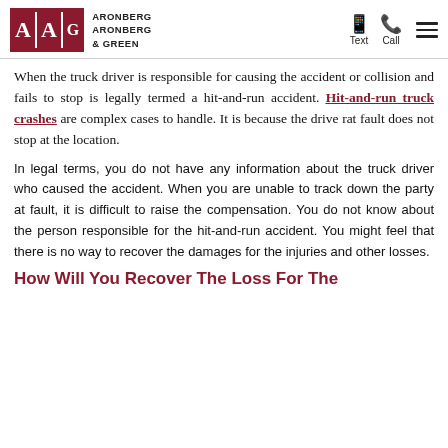Aronberg Aronberg & Green — Text | Call | Menu
When the truck driver is responsible for causing the accident or collision and fails to stop is legally termed a hit-and-run accident. Hit-and-run truck crashes are complex cases to handle. It is because the drive rat fault does not stop at the location.
In legal terms, you do not have any information about the truck driver who caused the accident. When you are unable to track down the party at fault, it is difficult to raise the compensation. You do not know about the person responsible for the hit-and-run accident. You might feel that there is no way to recover the damages for the injuries and other losses.
How Will You Recover The Loss For The